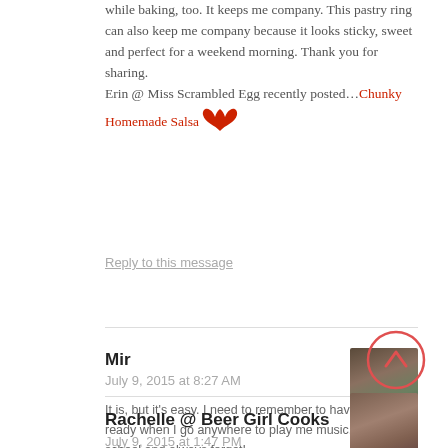while baking, too. It keeps me company. This pastry ring can also keep me company because it looks sticky, sweet and perfect for a weekend morning. Thank you for sharing. Erin @ Miss Scrambled Egg recently posted…Chunky Homemade Salsa
Reply to this message
Mir
July 9, 2015 at 8:27 AM
It is, but it's easy. I need to remember to have my phone ready when I go anywhere to play me music. I'm old school and always forget!
Reply to this message
Rachelle @ Beer Girl Cooks
July 9, 2015 at 1:47 PM